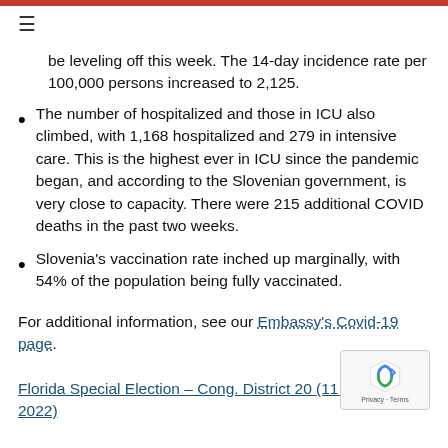≡
be leveling off this week.  The 14-day incidence rate per 100,000 persons increased to 2,125.
The number of hospitalized and those in ICU also climbed, with 1,168 hospitalized and 279 in intensive care.  This is the highest ever in ICU since the pandemic began, and according to the Slovenian government, is very close to capacity.  There were 215 additional COVID deaths in the past two weeks.
Slovenia's vaccination rate inched up marginally, with 54% of the population being fully vaccinated.
For additional information, see our Embassy's Covid-19 page.
Florida Special Election – Cong. District 20 (11 January 2022)